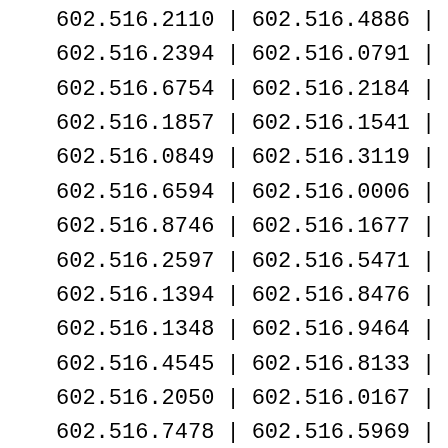| 602.516.2110 | | | 602.516.4886 | | |
| 602.516.2394 | | | 602.516.0791 | | |
| 602.516.6754 | | | 602.516.2184 | | |
| 602.516.1857 | | | 602.516.1541 | | |
| 602.516.0849 | | | 602.516.3119 | | |
| 602.516.6594 | | | 602.516.0006 | | |
| 602.516.8746 | | | 602.516.1677 | | |
| 602.516.2597 | | | 602.516.5471 | | |
| 602.516.1394 | | | 602.516.8476 | | |
| 602.516.1348 | | | 602.516.9464 | | |
| 602.516.4545 | | | 602.516.8133 | | |
| 602.516.2050 | | | 602.516.0167 | | |
| 602.516.7478 | | | 602.516.5969 | | |
| 602.516.1861 | | | 602.516.0150 | | |
| 602.516.5119 | | | 602.516.5275 | | |
| 602.516.6386 | | | 602.516.0966 | | |
| 602.516.5157 | | | 602.516.1295 | | |
| 602.516.2951 | | | 602.516.9741 | | |